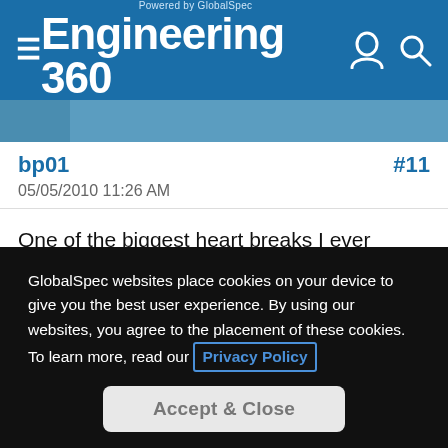Powered by GlobalSpec Engineering 360
bp01  #11
05/05/2010 11:26 AM
One of the biggest heart breaks I ever experienced was when someone told me that there was lard in most commercial cupcakes and deserts like Ho-Ho's.

I just close my mind to any insinuation that any animal products may be used in making beer.
GlobalSpec websites place cookies on your device to give you the best user experience. By using our websites, you agree to the placement of these cookies. To learn more, read our Privacy Policy
Accept & Close